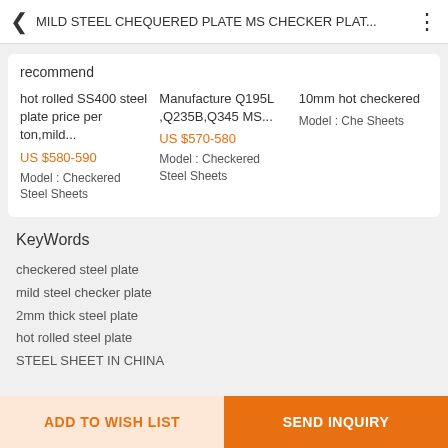MILD STEEL CHEQUERED PLATE MS CHECKER PLAT...
recommend
hot rolled SS400 steel plate price per ton,mild...
US $580-590
Model : Checkered Steel Sheets
Manufacture Q195L ,Q235B,Q345 MS...
US $570-580
Model : Checkered Steel Sheets
10mm hot checkered
Model : Che Sheets
KeyWords
checkered steel plate
mild steel checker plate
2mm thick steel plate
hot rolled steel plate
STEEL SHEET IN CHINA
ADD TO WISH LIST
SEND INQUIRY